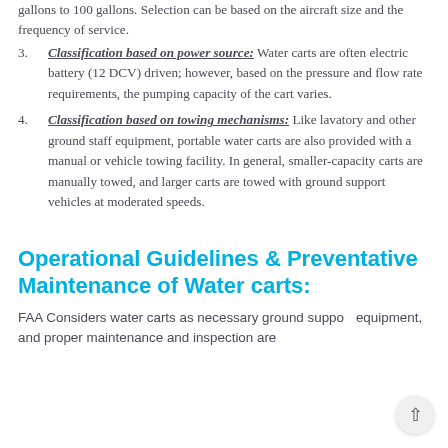gallons to 100 gallons. Selection can be based on the aircraft size and the frequency of service.
Classification based on power source: Water carts are often electric battery (12 DCV) driven; however, based on the pressure and flow rate requirements, the pumping capacity of the cart varies.
Classification based on towing mechanisms: Like lavatory and other ground staff equipment, portable water carts are also provided with a manual or vehicle towing facility. In general, smaller-capacity carts are manually towed, and larger carts are towed with ground support vehicles at moderated speeds.
Operational Guidelines & Preventative Maintenance of Water carts:
FAA Considers water carts as necessary ground support equipment, and proper maintenance and inspection are